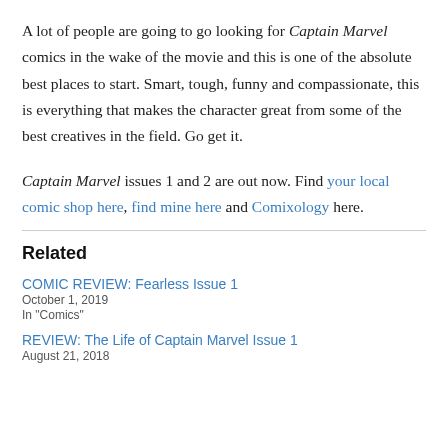A lot of people are going to go looking for Captain Marvel comics in the wake of the movie and this is one of the absolute best places to start. Smart, tough, funny and compassionate, this is everything that makes the character great from some of the best creatives in the field. Go get it.
Captain Marvel issues 1 and 2 are out now. Find your local comic shop here, find mine here and Comixology here.
Related
COMIC REVIEW: Fearless Issue 1
October 1, 2019
In "Comics"
REVIEW: The Life of Captain Marvel Issue 1
August 21, 2018